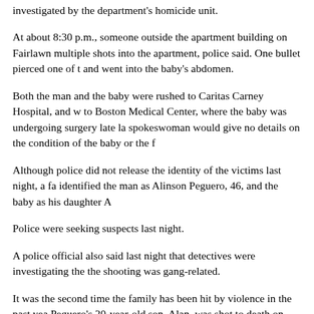investigated by the department's homicide unit.
At about 8:30 p.m., someone outside the apartment building on Fairlawn multiple shots into the apartment, police said. One bullet pierced one of t and went into the baby's abdomen.
Both the man and the baby were rushed to Caritas Carney Hospital, and w to Boston Medical Center, where the baby was undergoing surgery late la spokeswoman would give no details on the condition of the baby or the f
Although police did not release the identity of the victims last night, a fa identified the man as Alinson Peguero, 46, and the baby as his daughter A
Police were seeking suspects last night.
A police official also said last night that detectives were investigating the the shooting was gang-related.
It was the second time the family has been hit by violence in the past yea Peguero's 20-year-old son, Alan, was shot to death on Sept. 4 while work family's convenience store in Dorchester. The birth of Alianna in Februar the family deal with their grief, although they have been frustrated with t solving the case.